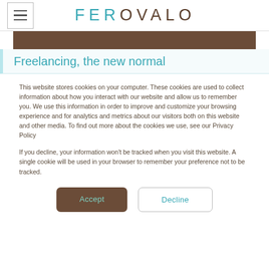FEROVALO
[Figure (other): Brown decorative banner strip]
Freelancing, the new normal
This website stores cookies on your computer. These cookies are used to collect information about how you interact with our website and allow us to remember you. We use this information in order to improve and customize your browsing experience and for analytics and metrics about our visitors both on this website and other media. To find out more about the cookies we use, see our Privacy Policy
If you decline, your information won't be tracked when you visit this website. A single cookie will be used in your browser to remember your preference not to be tracked.
Accept   Decline